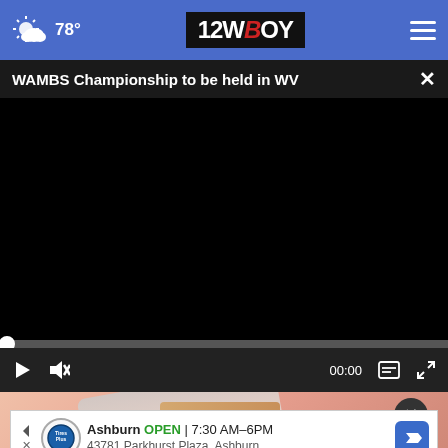78° | 12WBOY
WAMBS Championship to be held in WV
[Figure (screenshot): Black video player area with progress bar and playback controls showing 00:00]
[Figure (photo): Partial photo of a person visible below video player]
Ashburn OPEN | 7:30 AM–6PM
43781 Parkhurst Plaza, Ashburn